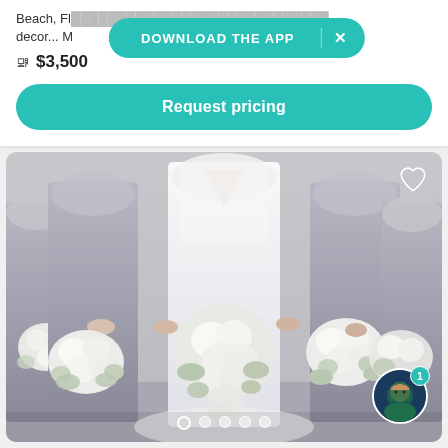Beach, Fl... decor... M
DOWNLOAD THE APP  ×
$3,500
Request pricing
[Figure (photo): Wedding photo showing a bride in white dress surrounded by bridesmaids in gray dresses, all holding white flower bouquets. Navigation dots at bottom and user avatar with notification badge at bottom right.]